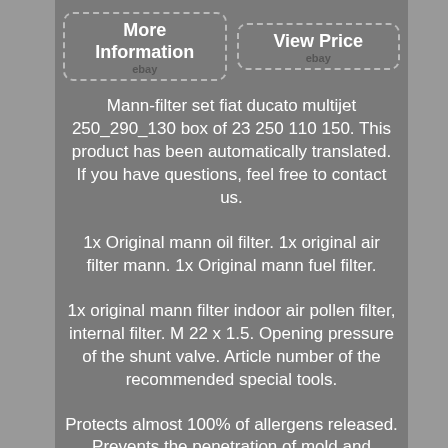[Figure (other): Two eBay-style buttons: 'More Information ebay' and 'View Price ebay' with dashed borders]
Mann-filter set fiat ducato multijet 250_290_130 box of 23 250 110 150. This product has been automatically translated. If you have questions, feel free to contact us.
1x Original mann oil filter. 1x original air filter mann. 1x Original mann fuel filter.
1x original mann filter indoor air pollen filter, internal filter. M 22 x 1.5. Opening pressure of the shunt valve. Article number of the recommended special tools.
Protects almost 100% of allergens released. Prevents the penetration of mold and bacteria.
Stops dust almost completely fine. Binds harmful gases such as ozone, nitrogen oxides or sulfur dioxide. Filtration up to 100% ...